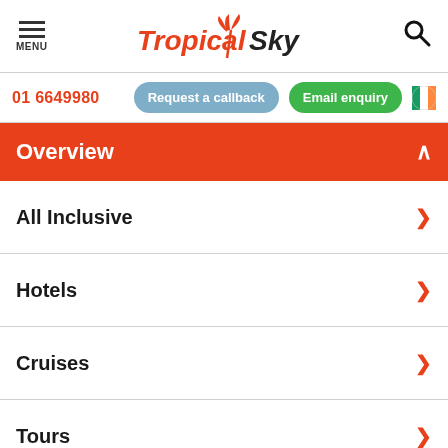MENU | Tropical Sky | Search
01 6649980 | Request a callback | Email enquiry
Overview
All Inclusive
Hotels
Cruises
Tours
Twin and Multi Centres